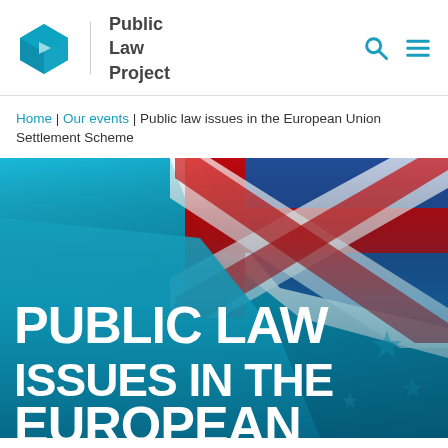Public Law Project
Home | Our events | Public law issues in the European Union Settlement Scheme
[Figure (photo): Photograph of overlapping flags including the UK Union Jack flag and EU flag colours (blue and teal), used as a hero image with bold white text overlay reading PUBLIC LAW ISSUES IN THE EUROPEAN]
PUBLIC LAW ISSUES IN THE EUROPEAN